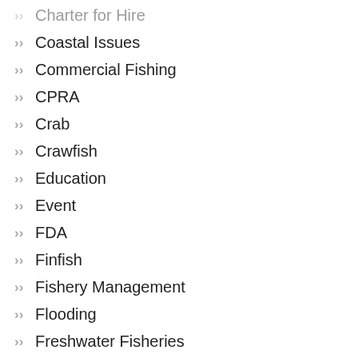Charter for Hire
Coastal Issues
Commercial Fishing
CPRA
Crab
Crawfish
Education
Event
FDA
Finfish
Fishery Management
Flooding
Freshwater Fisheries
Gulf of Mexico Fishery Management Council
HACCP
LA Dept of Ag & Forestry
LA Dept of Health
LA Dept of Wildlife and Fisheries
Licensing & Permitting